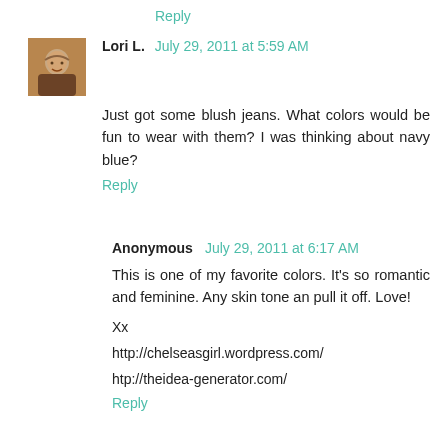Reply
Lori L. July 29, 2011 at 5:59 AM
Just got some blush jeans. What colors would be fun to wear with them? I was thinking about navy blue?
Reply
Anonymous July 29, 2011 at 6:17 AM
This is one of my favorite colors. It's so romantic and feminine. Any skin tone an pull it off. Love!
Xx
http://chelseasgirl.wordpress.com/
htp://theidea-generator.com/
Reply